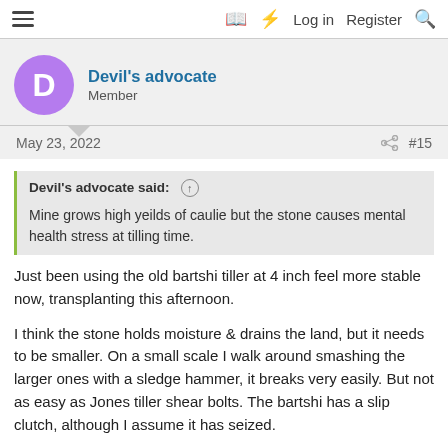≡  [book] [bolt] Log in  Register  [search]
Devil's advocate
Member
May 23, 2022   #15
Devil's advocate said: ↑
Mine grows high yeilds of caulie but the stone causes mental health stress at tilling time.
Just been using the old bartshi tiller at 4 inch feel more stable now, transplanting this afternoon.
I think the stone holds moisture & drains the land, but it needs to be smaller. On a small scale I walk around smashing the larger ones with a sledge hammer, it breaks very easily. But not as easy as Jones tiller shear bolts. The bartshi has a slip clutch, although I assume it has seized.